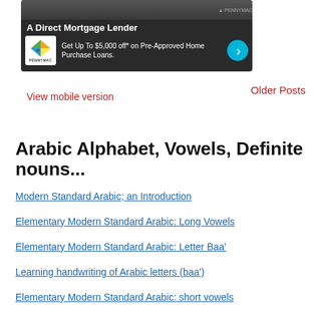[Figure (infographic): PennyMac advertisement banner: 'A Direct Mortgage Lender' with logo and 'Get Up To $5,000 off* on Pre-Approved Home Purchase Loans.']
Older Posts
View mobile version
Arabic Alphabet, Vowels, Definite nouns...
Modern Standard Arabic; an Introduction
Elementary Modern Standard Arabic: Long Vowels
Elementary Modern Standard Arabic: Letter Baa'
Learning handwriting of Arabic letters (baa')
Elementary Modern Standard Arabic: short vowels